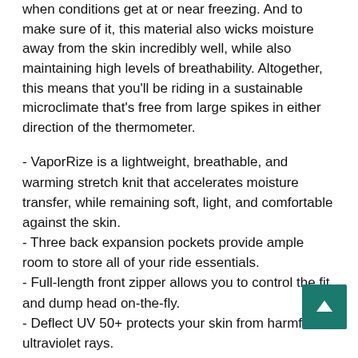when conditions get at or near freezing. And to make sure of it, this material also wicks moisture away from the skin incredibly well, while also maintaining high levels of breathability. Altogether, this means that you'll be riding in a sustainable microclimate that's free from large spikes in either direction of the thermometer.
- VaporRize is a lightweight, breathable, and warming stretch knit that accelerates moisture transfer, while remaining soft, light, and comfortable against the skin.
- Three back expansion pockets provide ample room to store all of your ride essentials.
- Full-length front zipper allows you to control the fit and dump head on-the-fly.
- Deflect UV 50+ protects your skin from harmful ultraviolet rays.
- Standard Fit is generous, so it fits close to the body without being constricting.
Sizing chart